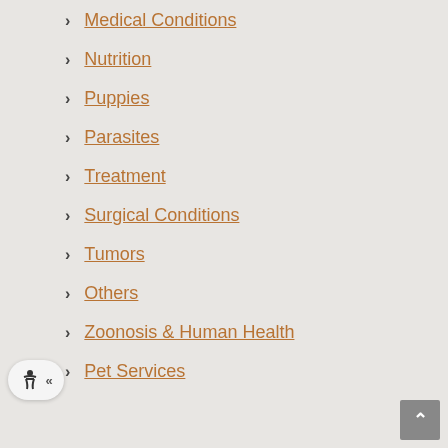Medical Conditions
Nutrition
Puppies
Parasites
Treatment
Surgical Conditions
Tumors
Others
Zoonosis & Human Health
Pet Services